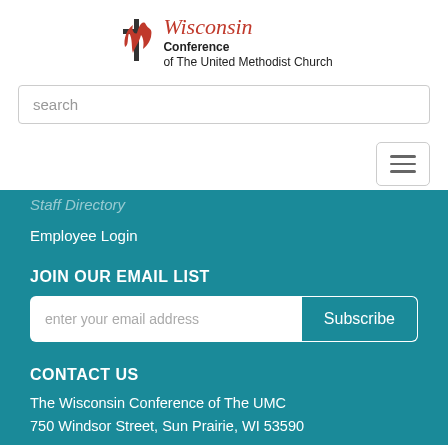[Figure (logo): Wisconsin Conference of The United Methodist Church logo with flame/cross icon and stylized Wisconsin text in red italic, Conference of The United Methodist Church in black]
search
[Figure (other): Hamburger menu button (three horizontal lines)]
Staff Directory (partially visible)
Employee Login
JOIN OUR EMAIL LIST
enter your email address
Subscribe
CONTACT US
The Wisconsin Conference of The UMC
750 Windsor Street, Sun Prairie, WI 53590